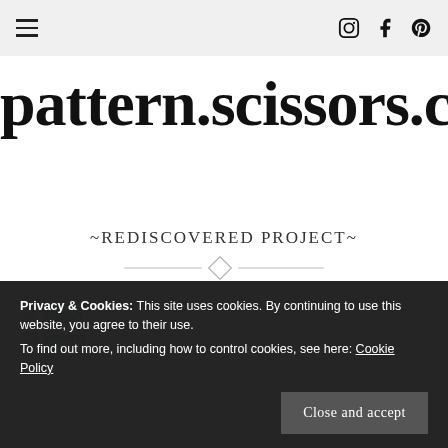pattern.scissors.cloth — navigation bar with hamburger menu and social icons (Instagram, Facebook, Pinterest)
pattern.scissors.cloth
~REDISCOVERED PROJECT~
Sheryll
Sewing
Privacy & Cookies: This site uses cookies. By continuing to use this website, you agree to their use. To find out more, including how to control cookies, see here: Cookie Policy
Close and accept